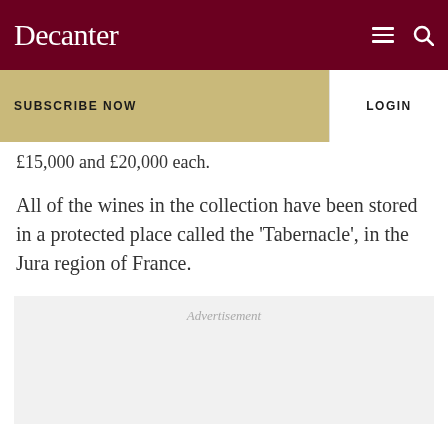Decanter
£15,000 and £20,000 each.
All of the wines in the collection have been stored in a protected place called the 'Tabernacle', in the Jura region of France.
Advertisement